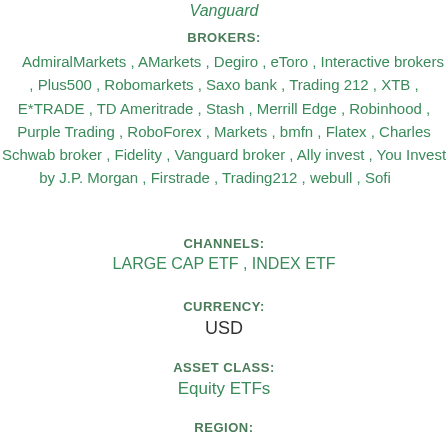Vanguard
BROKERS:
AdmiralMarkets , AMarkets , Degiro , eToro , Interactive brokers , Plus500 , Robomarkets , Saxo bank , Trading 212 , XTB , E*TRADE , TD Ameritrade , Stash , Merrill Edge , Robinhood , Purple Trading , RoboForex , Markets , bmfn , Flatex , Charles Schwab broker , Fidelity , Vanguard broker , Ally invest , You Invest by J.P. Morgan , Firstrade , Trading212 , webull , Sofi
CHANNELS:
LARGE CAP ETF , INDEX ETF
CURRENCY:
USD
ASSET CLASS:
Equity ETFs
REGION: